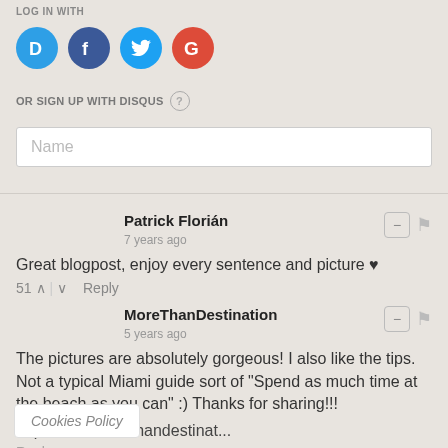LOG IN WITH
[Figure (illustration): Four social login icons: Disqus (blue D), Facebook (dark blue f), Twitter (light blue bird), Google (red G) — all circular]
OR SIGN UP WITH DISQUS ?
Name
Patrick Florián
7 years ago
Great blogpost, enjoy every sentence and picture ♥
51 ^ | v Reply
MoreThanDestination
5 years ago
The pictures are absolutely gorgeous! I also like the tips. Not a typical Miami guide sort of "Spend as much time at the beach as you can" :) Thanks for sharing!!!
http://www.morethandestinat...
Reply
Cookies Policy